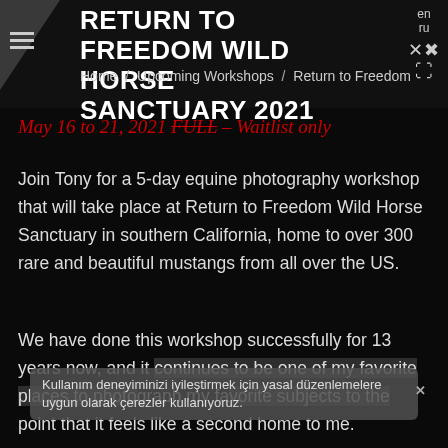RETURN TO FREEDOM WILD HORSE SANCTUARY 2021
Home / Upcoming Workshops / Return to Freedom
May 16 to 21, 2021 FULL – Waitlist only
Join Tony for a 5-day equine photography workshop that will take place at Return to Freedom Wild Horse Sanctuary in southern California, home to over 300 rare and beautiful mustangs from all over the US.
We have done this workshop successfully for 13 years now, and it continues to be one of my favorite places to photograph my favorite subjects to the point that it feels like a second home to me.
Kullanım deneyiminizi iyileştirmek için yasal düzenlemelere uygun olarak çerezler kullanıyoruz.